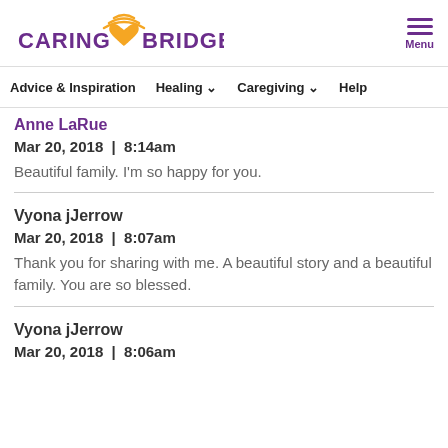[Figure (logo): CaringBridge logo with orange wifi/heart icon and purple text]
Menu
Advice & Inspiration   Healing   Caregiving   Help
Anne LaRue
Mar 20, 2018  |  8:14am
Beautiful family. I'm so happy for you.
Vyona jJerrow
Mar 20, 2018  |  8:07am
Thank you for sharing with me. A beautiful story and a beautiful family. You are so blessed.
Vyona jJerrow
Mar 20, 2018  |  8:06am